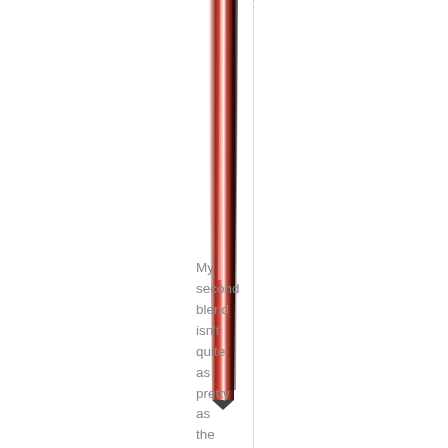[Figure (photo): A tall thin red and black rod or stick photographed vertically, tapering to a point at the bottom, with a dotted vertical border line to its right.]
My second blend isn't quite as pretty as the first, but it's very warming and